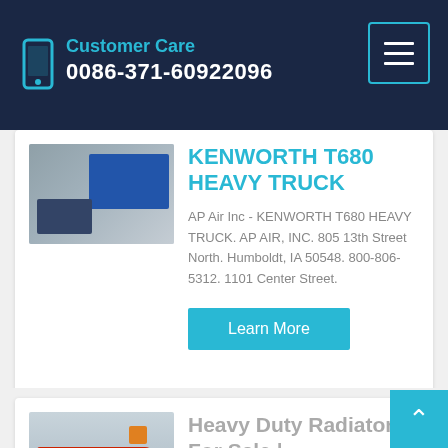Customer Care
0086-371-60922096
KENWORTH T680 HEAVY TRUCK
AP Air Inc - KENWORTH T680 HEAVY TRUCK. AP AIR, INC. 805 13th Street North. Humboldt, IA 50548. 800-806-5312. 1101 Center Street.
Learn More
Heavy Duty Radiators For Sale | MyLittleSalesman.com